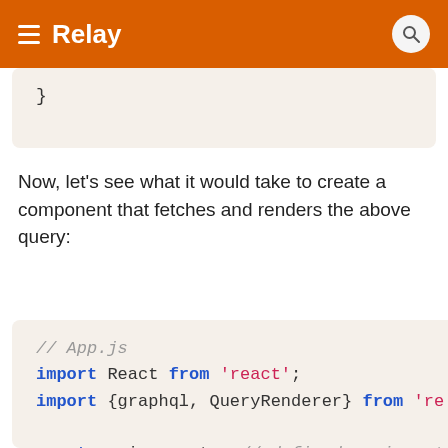Relay
}
Now, let's see what it would take to create a component that fetches and renders the above query:
// App.js
import React from 'react';
import {graphql, QueryRenderer} from 're

const environment = // defined or import

export default App extends React.Compone
  render() {